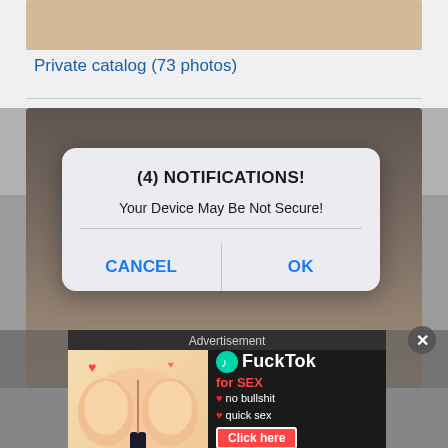[Figure (screenshot): Screenshot of a website showing a partially visible photo at top, a 'Private catalog (73 photos)' link, a second background photo, a browser notification-style dialog overlay saying '(4) NOTIFICATIONS! Your Device May Be Not Secure!' with CANCEL and OK buttons, an advertisement banner labeled 'Advertisement' featuring 'FuckTok for SEX' with 'no bullshit', 'quick sex', and 'Click here' text, and a close (X) button.]